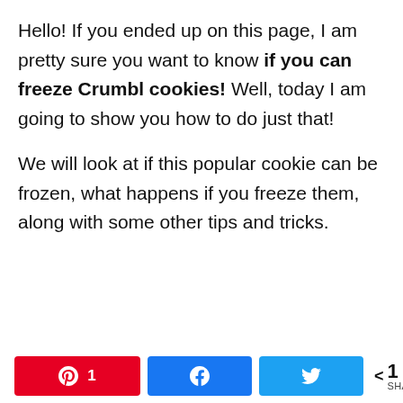Hello! If you ended up on this page, I am pretty sure you want to know if you can freeze Crumbl cookies! Well, today I am going to show you how to do just that!
We will look at if this popular cookie can be frozen, what happens if you freeze them, along with some other tips and tricks.
Pinterest 1 | Facebook share | Twitter share | < 1 SHARES